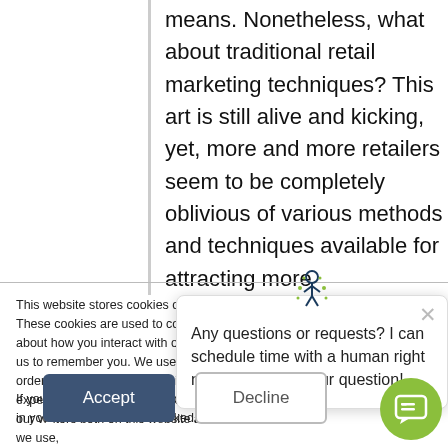means. Nonetheless, what about traditional retail marketing techniques? This art is still alive and kicking, yet, more and more retailers seem to be completely oblivious of various methods and techniques available for attracting more
This website stores cookies on your computer. These cookies are used to collect information about how you interact with our website and allow us to remember you. We use this information in order to improve and customize your browsing experience and for analytics and metrics about our visitors both on this website and the cookies we use,
If you decline, your i when you visit this w used in your browse not to be tracked.
[Figure (other): Chat popup widget with logo and message: Any questions or requests? I can schedule time with a human right now, or send in your question!]
Accept
Decline